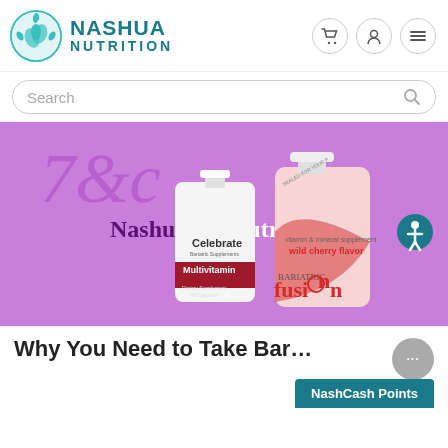[Figure (logo): Nashua Nutrition logo with teal circular leaf icon and brand name]
[Figure (screenshot): Search bar with placeholder text 'Search' and magnifying glass icon]
[Figure (photo): Purple promotional banner showing 'Nashua Nutrition' text with two supplement bottles: Celebrate Bariatric Supplements Multivitamin (Dietary Supplement 90 Capsules) and Bariatric Fusion wild cherry flavor]
Why You Need to Take Bar...